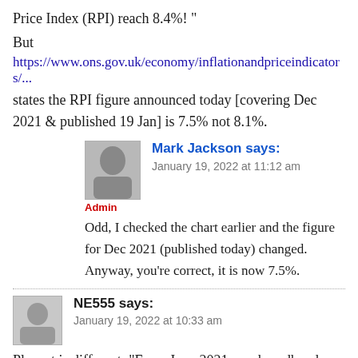Price Index (RPI) reach 8.4%! "
But
https://www.ons.gov.uk/economy/inflationandpriceindicators/...
states the RPI figure announced today [covering Dec 2021 & published 19 Jan] is 7.5% not 8.1%.
Mark Jackson says:
January 19, 2022 at 11:12 am
Admin
Odd, I checked the chart earlier and the figure for Dec 2021 (published today) changed. Anyway, you're correct, it is now 7.5%.
NE555 says:
January 19, 2022 at 10:33 am
Plusnet is different: "From June 2021, our broadband